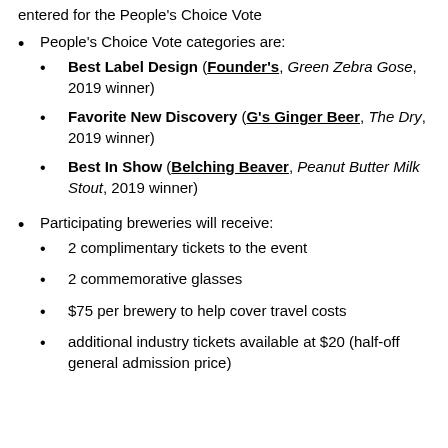entered for the People's Choice Vote
People's Choice Vote categories are:
Best Label Design (Founder's, Green Zebra Gose, 2019 winner)
Favorite New Discovery (G's Ginger Beer, The Dry, 2019 winner)
Best In Show (Belching Beaver, Peanut Butter Milk Stout, 2019 winner)
Participating breweries will receive:
2 complimentary tickets to the event
2 commemorative glasses
$75 per brewery to help cover travel costs
additional industry tickets available at $20 (half-off general admission price)